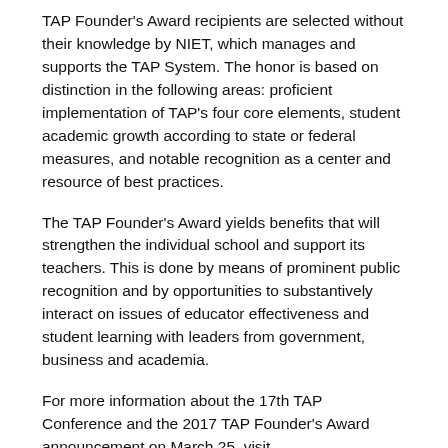TAP Founder's Award recipients are selected without their knowledge by NIET, which manages and supports the TAP System. The honor is based on distinction in the following areas: proficient implementation of TAP's four core elements, student academic growth according to state or federal measures, and notable recognition as a center and resource of best practices.
The TAP Founder's Award yields benefits that will strengthen the individual school and support its teachers. This is done by means of prominent public recognition and by opportunities to substantively interact on issues of educator effectiveness and student learning with leaders from government, business and academia.
For more information about the 17th TAP Conference and the 2017 TAP Founder's Award announcement on March 25, visit http://www.niet.org. For interviews during the conference or to attend, contact Jana Rausch at jrausch@niet.org or (310) 435-9259.